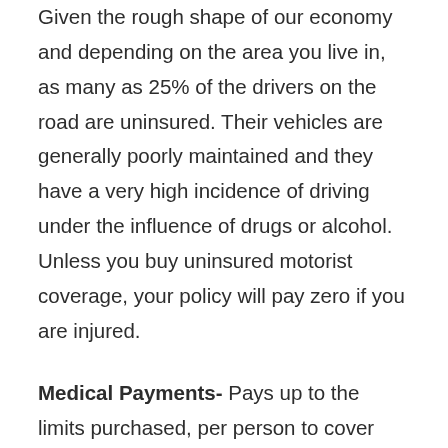Given the rough shape of our economy and depending on the area you live in, as many as 25% of the drivers on the road are uninsured. Their vehicles are generally poorly maintained and they have a very high incidence of driving under the influence of drugs or alcohol. Unless you buy uninsured motorist coverage, your policy will pay zero if you are injured.
Medical Payments- Pays up to the limits purchased, per person to cover medical expenses and funeral expenses reasonably incurred from an automobile related accident. It covers everyone in your car. Generally, I think Med-Pay is a bargain even if you have health